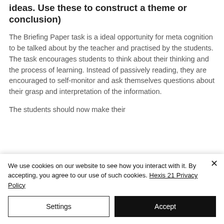ideas. Use these to construct a theme or conclusion)
The Briefing Paper task is a ideal opportunity for meta cognition to be talked about by the teacher and practised by the students. The task encourages students to think about their thinking and the process of learning. Instead of passively reading, they are encouraged to self-monitor and ask themselves questions about their grasp and interpretation of the information.
The students should now make their
We use cookies on our website to see how you interact with it. By accepting, you agree to our use of such cookies. Hexis 21 Privacy Policy
Settings
Accept